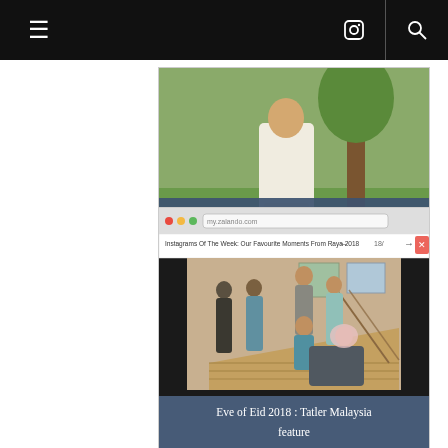≡  [Instagram icon]  [Search icon]
[Figure (photo): Photo of a person wearing white vintage batik and Japanese lace outfit outdoors, with green lawn and tree in background. Caption overlay reads: Eid Eve in Vintage Batik and Japanese Lace]
Eid Eve in Vintage Batik and Japanese Lace
[Figure (screenshot): Screenshot of a website (my.zalando.com) showing an article titled 'Instagrams Of The Week: Our Favourite Moments From Raya 2018' page 18, with a group photo of women in traditional Eid outfits posing on a staircase. Caption overlay reads: Eve of Eid 2018 : Tatler Malaysia feature]
Eve of Eid 2018 : Tatler Malaysia feature